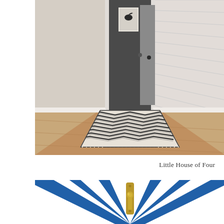[Figure (photo): A narrow hallway with light wood floors, white walls and baseboard trim, a dark gray accent wall at the far end with an open door and framed artwork of a bird silhouette. A geometric chevron/herringbone patterned runner rug in black and cream with fringe ends is laid on the floor. A white shiplap wall panel is visible on the right.]
Little House of Four
[Figure (photo): Partial view of a door or surface painted white with bold blue diagonal stripes radiating outward. A brass door knob or hardware fixture is visible in the center.]